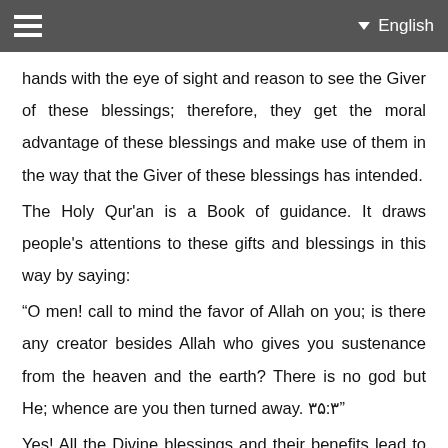English
hands with the eye of sight and reason to see the Giver of these blessings; therefore, they get the moral advantage of these blessings and make use of them in the way that the Giver of these blessings has intended.
The Holy Qur'an is a Book of guidance. It draws people's attentions to these gifts and blessings in this way by saying:
“O men! call to mind the favor of Allah on you; is there any creator besides Allah who gives you sustenance from the heaven and the earth? There is no god but He; whence are you then turned away. ۳۵:۳”
Yes! All the Divine blessings and their benefits lead to the